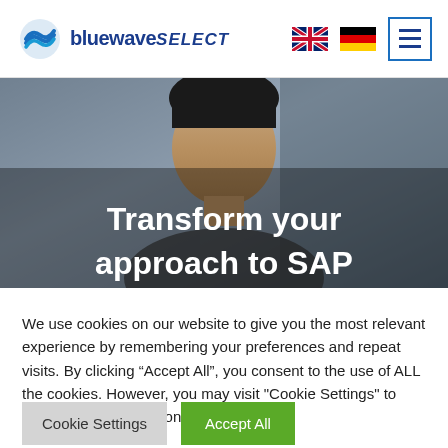bluewave SELECT
[Figure (screenshot): Hero banner with a close-up photo of a person's face overlaid with bold white text reading 'Transform your approach to SAP']
Transform your approach to SAP
We use cookies on our website to give you the most relevant experience by remembering your preferences and repeat visits. By clicking “Accept All”, you consent to the use of ALL the cookies. However, you may visit "Cookie Settings" to provide a controlled consent.
Cookie Settings
Accept All